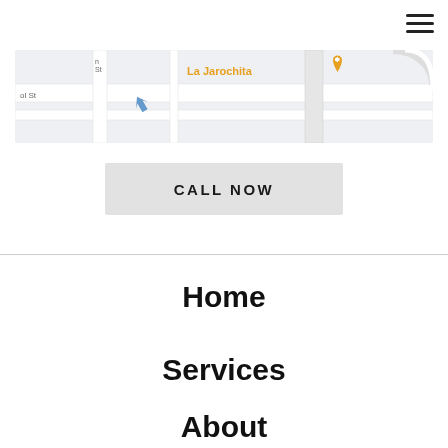[Figure (map): Google Maps-style street map showing location of La Jarochita restaurant with orange pin marker]
CALL NOW
Home
Services
About